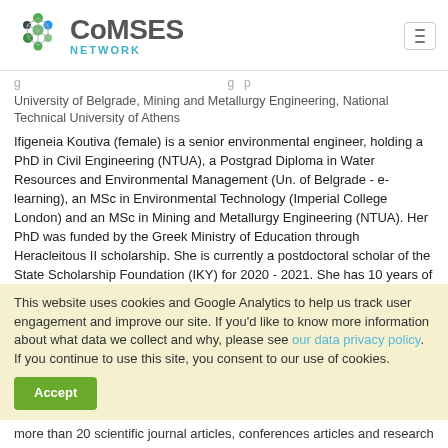[Figure (logo): CoMSES Network logo with hexagonal nodes graphic in green and blue]
University of Belgrade, Mining and Metallurgy Engineering, National Technical University of Athens
Ifigeneia Koutiva (female) is a senior environmental engineer, holding a PhD in Civil Engineering (NTUA), a Postgrad Diploma in Water Resources and Environmental Management (Un. of Belgrade - e-learning), an MSc in Environmental Technology (Imperial College London) and an MSc in Mining and Metallurgy Engineering (NTUA). Her PhD was funded by the Greek Ministry of Education through Heracleitous II scholarship. She is currently a postdoctoral scholar of the State Scholarship Foundation (IKY) for 2020 - 2021. She has 10 years of experience in various EU funded research projects, both as a researcher and as a project manager, in the fields of socio-technical simulation, urban water modelling, modelling and assessment of alternative water technologies, artificial intelligence
This website uses cookies and Google Analytics to help us track user engagement and improve our site. If you'd like to know more information about what data we collect and why, please see our data privacy policy. If you continue to use this site, you consent to our use of cookies.
more than 20 scientific journal articles, conferences articles and research